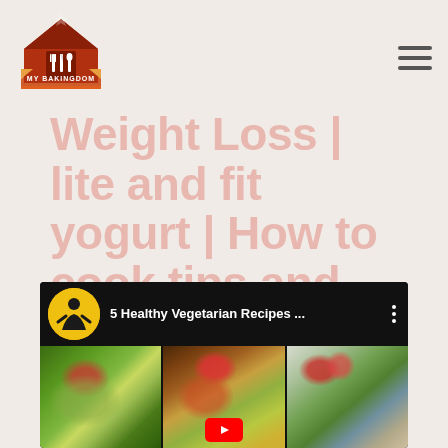[Figure (logo): My Bakingdom logo with barn/house icon and fork/knife utensils, red and orange colors]
Weight Loss | lite and fit yogurt | How to cook tips and tricks
[Figure (screenshot): YouTube video thumbnail showing '5 Healthy Vegetarian Recipes ...' with three food images showing green salads and pasta dishes]